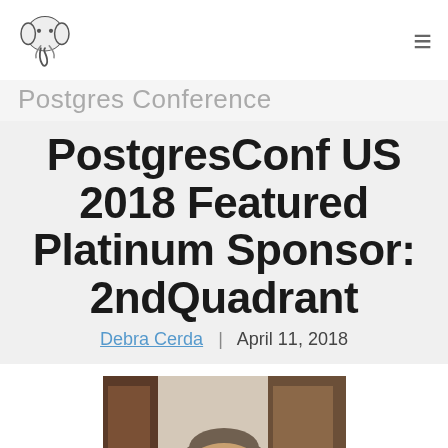Postgres Conference
PostgresConf US 2018 Featured Platinum Sponsor: 2ndQuadrant
Debra Cerda  |  April 11, 2018
[Figure (photo): Portrait photo of a middle-aged man with short graying hair, wearing a suit, photographed indoors near a doorway]